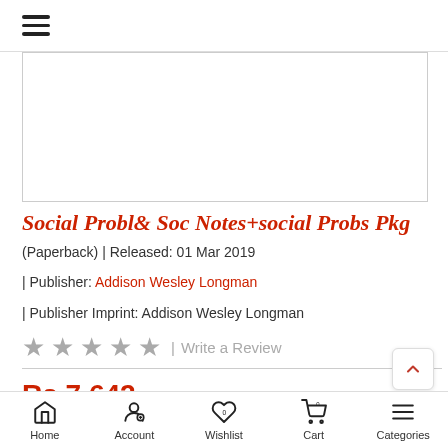≡
[Figure (other): Book cover image placeholder (white rectangle with border)]
Social Probl& Soc Notes+social Probs Pkg
(Paperback) | Released: 01 Mar 2019
| Publisher: Addison Wesley Longman
| Publisher Imprint: Addison Wesley Longman
★ ★ ★ ★ ★ | Write a Review
Rs.7,642
Home | Account | Wishlist | Cart | Categories